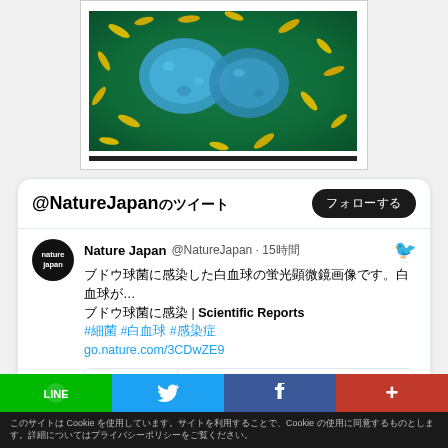[Figure (photo): Microscope/SEM image showing blue cellular structures (possibly bacteria or cells) against a green background with yellow rod-shaped bacteria scattered around]
@NatureJapanのツイート
フォローする
Nature Japan @NatureJapan · 15時間
ブドウ球菌に感染した白血球の蛍光顕微鏡画像です。白血球が... | Scientific Reports #細菌 #白血球 #感染症 go.nature.com/3CDwZE9
scientific reports
natureasia.com
ブドウ球菌に感染した白血球の蛍光顕微...
このサイトはCookie を使用しています。サイトを利用することで、Cookieの使用に同意するものとします。